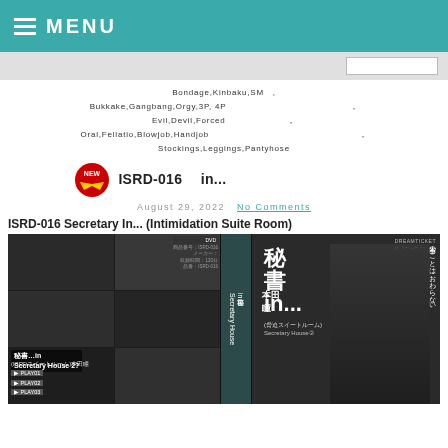MENU
Bondage,Kinbaku,SM　,
Bukkake,Gangbang,Orgy,3P, 4P　,
Evil,Devil,Forced　,
Oral,Fellatio,Blowjob,Handjob　,
Stockings,Leggings,Pantyhose
ISRD-016 秘書in...脅迫スイートルーム 本田瞳
August 29, 2022   No Comments
ISRD-016 Secretary In... (Intimidation Suite Room)
[Figure (photo): DVD cover image for ISRD-016 showing product packaging with Japanese actress]